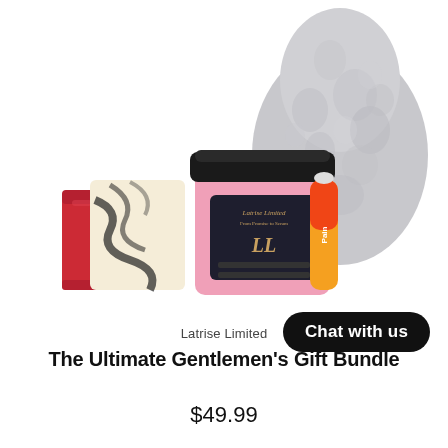[Figure (photo): Product photo showing a gift set: two bar soaps (one red, one black/cream swirl), a pink jar with black lid labeled 'Latrise Limited', a small roller bottle with orange-red gradient label reading 'Pain', and a large fluffy gray slipper or spa mitt in the background.]
Latrise Limited
Chat with us
The Ultimate Gentlemen's Gift Bundle
$49.99